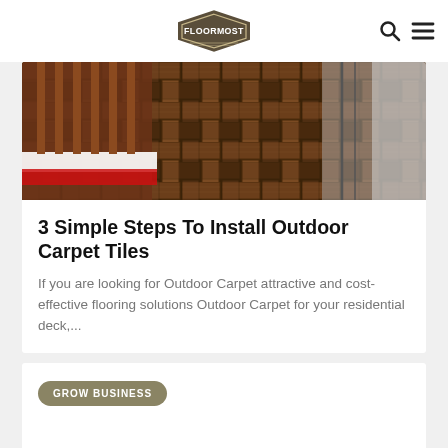FLOORMOST
[Figure (photo): Interior bedroom scene showing dark herringbone pattern carpet/parquet flooring beneath a wooden crib with red and white bedding, and a grey upholstered piece of furniture visible in the background.]
3 Simple Steps To Install Outdoor Carpet Tiles
If you are looking for Outdoor Carpet attractive and cost-effective flooring solutions Outdoor Carpet for your residential deck,...
GROW BUSINESS